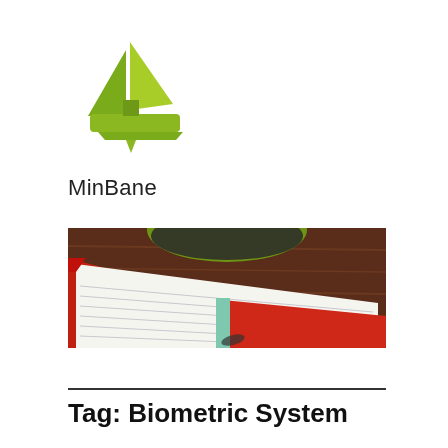[Figure (logo): Green sailboat logo icon for MinBane]
MinBane
[Figure (photo): Photo of an open lined notebook with red cover on a wooden table, with a green bowl visible at the top]
Tag: Biometric System